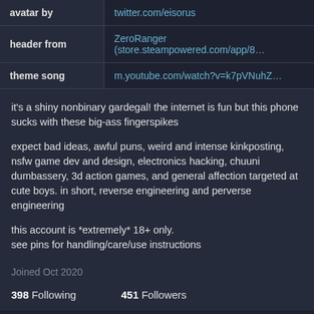|  |  |
| --- | --- |
| avatar by | twitter.com/eisorus |
| header from | ZeroRanger (store.steampowered.com/app/8... |
| theme song | m.youtube.com/watch?v=k7pVNuhZ... |
it's a shiny nonbinary gardegal! the internet is fun but this phone sucks with these big-ass fingerspikes

expect bad ideas, awful puns, weird and intense kinkposting, nsfw game dev and design, electronics hacking, chuuni dumbassery, 3d action games, and general affection targeted at cute boys. in short, reverse engineering and perverse engineering

this account is *extremely* 18+ only.
see pins for handling/care/use instructions
Joined Oct 2020
398 Following   451 Followers